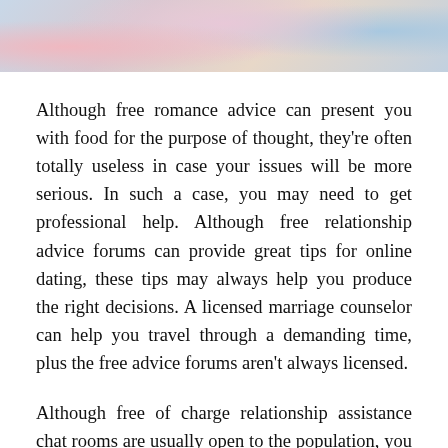[Figure (photo): Partial photo showing hands, possibly female, with pink nail polish and a ring, wearing a sparkly blue garment, cropped at the top of the page]
Although free romance advice can present you with food for the purpose of thought, they're often totally useless in case your issues will be more serious. In such a case, you may need to get professional help. Although free relationship advice forums can provide great tips for online dating, these tips may always help you produce the right decisions. A licensed marriage counselor can help you travel through a demanding time, plus the free advice forums aren't always licensed.
Although free of charge relationship assistance chat rooms are usually open to the population, you should remember to be cautious about giving away personal information within a public chat room. Alternatively, you may also join a website where properly trained listeners will certainly listen to you.